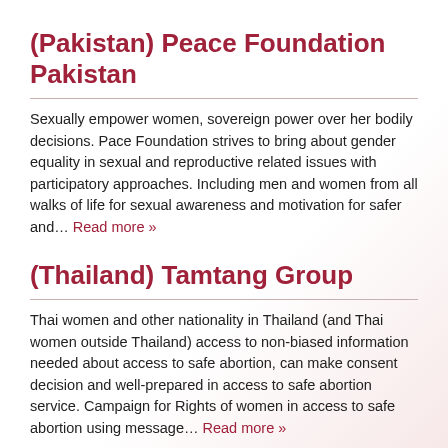(Pakistan) Peace Foundation Pakistan
Sexually empower women, sovereign power over her bodily decisions. Pace Foundation strives to bring about gender equality in sexual and reproductive related issues with participatory approaches. Including men and women from all walks of life for sexual awareness and motivation for safer and… Read more »
(Thailand) Tamtang Group
Thai women and other nationality in Thailand (and Thai women outside Thailand) access to non-biased information needed about access to safe abortion, can make consent decision and well-prepared in access to safe abortion service. Campaign for Rights of women in access to safe abortion using message… Read more »
(Central and Eastern Europe) ASTRA